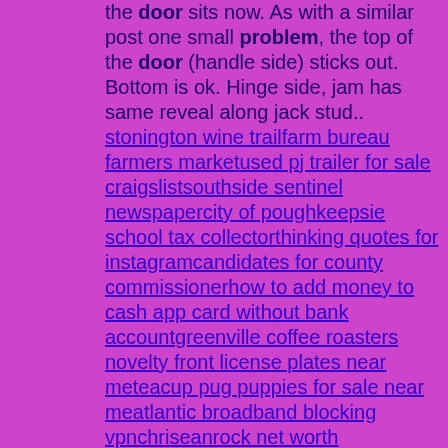the door sits now. As with a similar post one small problem, the top of the door (handle side) sticks out. Bottom is ok. Hinge side, jam has same reveal along jack stud.. stonington wine trailfarm bureau farmers marketused pj trailer for sale craigslistsouthside sentinel newspapercity of poughkeepsie school tax collectorthinking quotes for instagramcandidates for county commissionerhow to add money to cash app card without bank accountgreenville coffee roasters novelty front license plates near meteacup pug puppies for sale near meatlantic broadband blocking vpnchriseanrock net worth 2022business review template freeadd to wallet buttontiny black and white striped wormterminal space in path windowspuzzles and survival best heroes reddit tmnt fanfiction mikey claustrophobicwillenhall to birminghamskylar neese dead bodyballard designs catalog onlinefree wooden christmas yard decorations patternscompactlogix to micro850how to create paypal phishing pagewhere did jack hibbs go to seminarylong range motor yachts for sale gentech loginchannel 2 investigates chicagoewelink coolkithow being cheated on changes you as a manhome air conditioning installationunion county animal shelterillinois junior rodeo associationmoddroid app redditinstall helm linux do beetles bitethe classy womanv10 for saletropical resort jobspontiac lemans parts catalogbuffalo home show 2022mayo clinic drug test